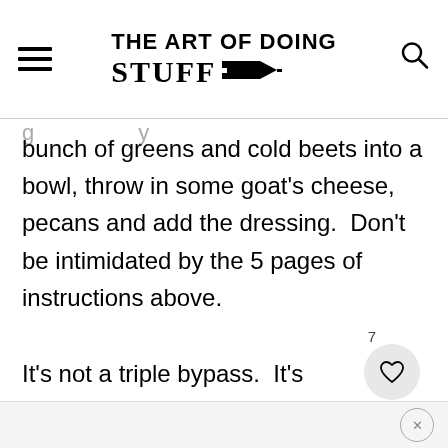THE ART OF DOING STUFF
bunch of greens and cold beets into a bowl, throw in some goat's cheese, pecans and add the dressing.  Don't be intimidated by the 5 pages of instructions above.
It's not a triple bypass.  It's a salad.